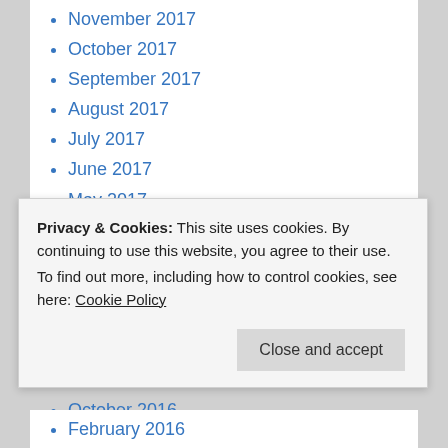November 2017
October 2017
September 2017
August 2017
July 2017
June 2017
May 2017
April 2017
March 2017
February 2017
January 2017
December 2016
November 2016
October 2016
Privacy & Cookies: This site uses cookies. By continuing to use this website, you agree to their use. To find out more, including how to control cookies, see here: Cookie Policy
February 2016